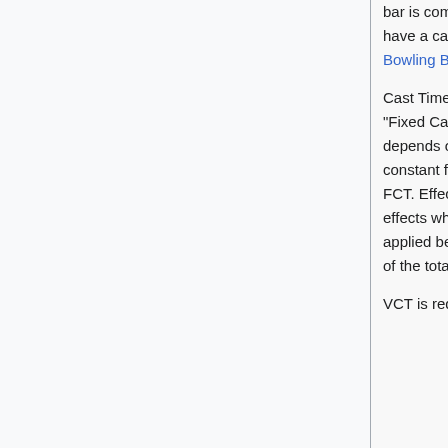bar is completely green, Cast Time ends. Some skills do not have a cast bar, even though they have a casting time, such as Bowling Bash and Brandish Spear.
Cast Time is composed of "Variable Cast Time" (VCT) and "Fixed Cast Time" (FCT). As the names may imply, VCT depends on the stats and gear of the caster, while FCT is constant for a given skill. A small number of effects can reduce FCT. Effects which reduce FCT by a percentage do not stack; effects which reduce FCT by a set amount do stack, and are applied before percentage modifiers. For most skills, FCT is 20% of the total Cast Time, with the remainder being VCT.
VCT is reduced by DEX, and also INT at half the amount.